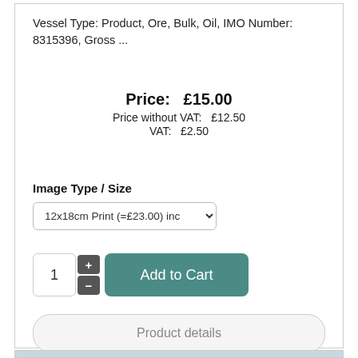Vessel Type: Product, Ore, Bulk, Oil, IMO Number: 8315396, Gross ...
Price: £15.00
Price without VAT: £12.50
VAT: £2.50
Image Type / Size
12x18cm Print (=£23.00) inc
1
Add to Cart
Product details
[Figure (photo): Aerial photo of a large cargo/ore ship on open blue water, with Elite watermark]